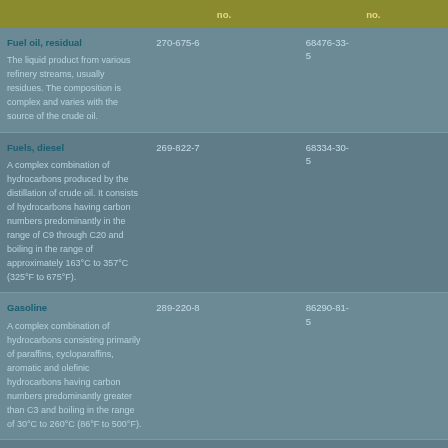|  | no. | no. |
| --- | --- | --- |
| Fuel oil, residual
The liquid product from various refinery streams, usually residues. The composition is complex and varies with the source of the crude oil. | 270-675-6 | 68476-33-5 |
| Fuels, diesel
A complex combination of hydrocarbons produced by the distillation of crude oil. It consists of hydrocarbons having carbon numbers predominantly in the range of C9 through C20 and boiling in the range of approximately 163°C to 357°C (325°F to 675°F). | 269-822-7 | 68334-30-5 |
| Gasoline
A complex combination of hydrocarbons consisting primarily of paraffins, cycloparaffins, aromatic and olefinic hydrocarbons having carbon numbers predominantly greater than C3 and boiling in the range of 30°C to 260°C (86°F to 500°F). | 289-220-8 | 86290-81-5 |
| Aluminium oxide | 215-691-6 | 1344-28-1 |